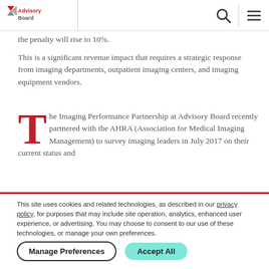Advisory Board [logo] [search icon] [menu icon]
the penalty will rise to 10%.
This is a significant revenue impact that requires a strategic response from imaging departments, outpatient imaging centers, and imaging equipment vendors.
The Imaging Performance Partnership at Advisory Board recently partnered with the AHRA (Association for Medical Imaging Management) to survey imaging leaders in July 2017 on their current status and
This site uses cookies and related technologies, as described in our privacy policy, for purposes that may include site operation, analytics, enhanced user experience, or advertising. You may choose to consent to our use of these technologies, or manage your own preferences.
Manage Preferences | Accept All